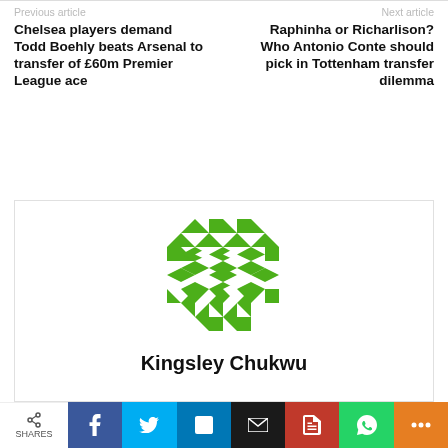Previous article
Chelsea players demand Todd Boehly beats Arsenal to transfer of £60m Premier League ace
Next article
Raphinha or Richarlison? Who Antonio Conte should pick in Tottenham transfer dilemma
[Figure (illustration): Green geometric quilt-pattern avatar icon for author Kingsley Chukwu]
Kingsley Chukwu
SHARES | Facebook | Twitter | LinkedIn | Email | PDF | WhatsApp | More